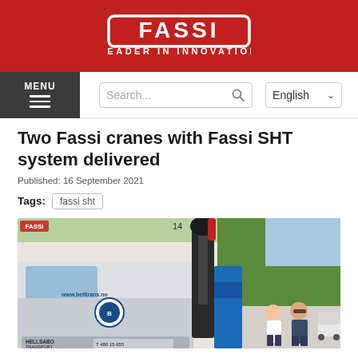[Figure (logo): Fassi logo — white rounded rectangle border with bold white FASSI text, red background. 'LEADER IN INNOVATION' below in white caps.]
MENU  Search...  English
Two Fassi cranes with Fassi SHT system delivered
Published: 16 September 2021
Tags: fassi sht
[Figure (photo): Photo of two men standing in front of a truck with a Fassi crane mounted on it. The truck has 'www.belltrans.no' branding and 'HELLSABO TRANSPORT' text. A large blue and black crane arm is visible, raised against a background of green trees and a building. A white van is visible on the right.]